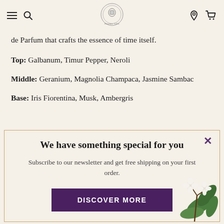Navigation bar with hamburger menu, search icon, logo (Santa Maria Novella Firenze 1221), location pin, and cart icon
de Parfum that crafts the essence of time itself.
Top: Galbanum, Timur Pepper, Neroli
Middle: Geranium, Magnolia Champaca, Jasmine Sambac
Base: Iris Fiorentina, Musk, Ambergris
We have something special for you
Subscribe to our newsletter and get free shipping on your first order.
DISCOVER MORE